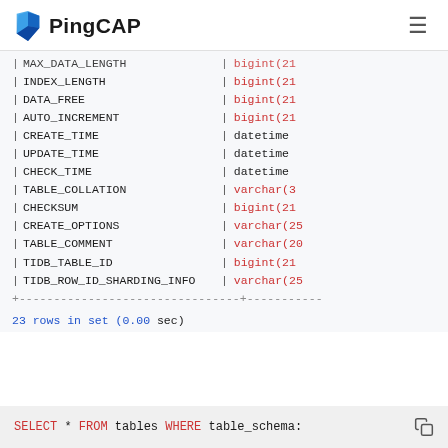PingCAP
| MAX_DATA_LENGTH | bigint(21
| INDEX_LENGTH | bigint(21
| DATA_FREE | bigint(21
| AUTO_INCREMENT | bigint(21
| CREATE_TIME | datetime
| UPDATE_TIME | datetime
| CHECK_TIME | datetime
| TABLE_COLLATION | varchar(32
| CHECKSUM | bigint(21
| CREATE_OPTIONS | varchar(25
| TABLE_COMMENT | varchar(20
| TIDB_TABLE_ID | bigint(21
| TIDB_ROW_ID_SHARDING_INFO | varchar(25
+---...
23 rows in set (0.00 sec)
SELECT * FROM tables WHERE table_schema: